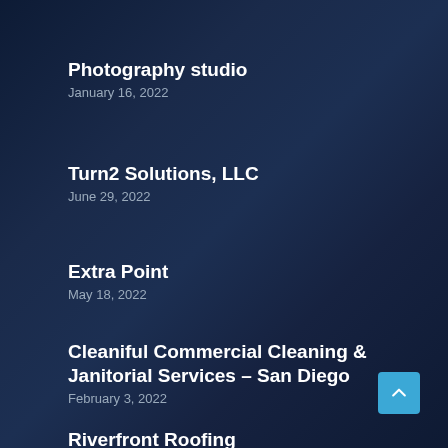Photography studio
January 16, 2022
Turn2 Solutions, LLC
June 29, 2022
Extra Point
May 18, 2022
Cleaniful Commercial Cleaning & Janitorial Services – San Diego
February 3, 2022
Riverfront Roofing
May 13, 2022